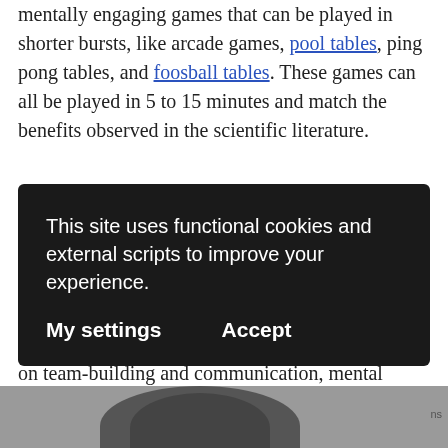mentally engaging games that can be played in shorter bursts, like arcade games, pool tables, ping pong tables, and foosball tables. These games can all be played in 5 to 15 minutes and match the benefits observed in the scientific literature.
Between their recruitment value, massive impact on team-building and communication, mental health benefits, and physical health preservation, it's clear that employee game rooms are a necessary part of any company built for the future.
This site uses functional cookies and external scripts to improve your experience.
My settings   Accept